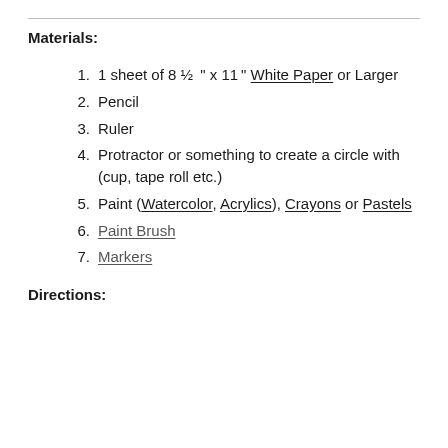Materials:
1 sheet of 8 ½ " x 11" White Paper or Larger
Pencil
Ruler
Protractor or something to create a circle with (cup, tape roll etc.)
Paint (Watercolor, Acrylics), Crayons or Pastels
Paint Brush
Markers
Directions: